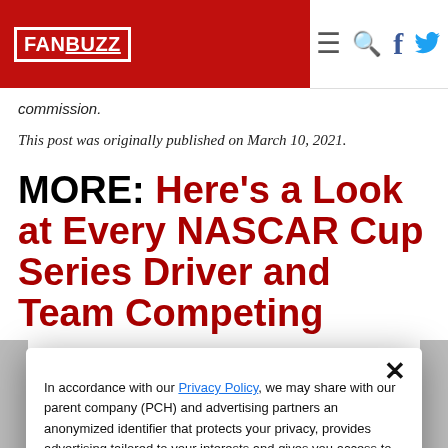FANBUZZ
commission.
This post was originally published on March 10, 2021.
MORE: Here's a Look at Every NASCAR Cup Series Driver and Team Competing
In accordance with our Privacy Policy, we may share with our parent company (PCH) and advertising partners an anonymized identifier that protects your privacy, provides advertising tailored to your interests and gives you access to advertising supported content. Data collected on one of our sites may be used on our other owned and operated sites, which sites are identified in our Privacy Policy. All of our sites are governed by the same Privacy Policy, and by proceeding to access this site, you are consenting to that Privacy Policy.